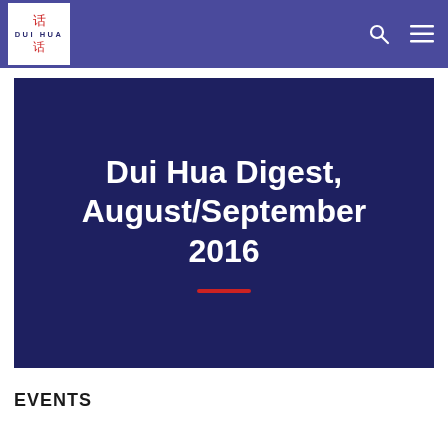Dui Hua
Dui Hua Digest, August/September 2016
EVENTS